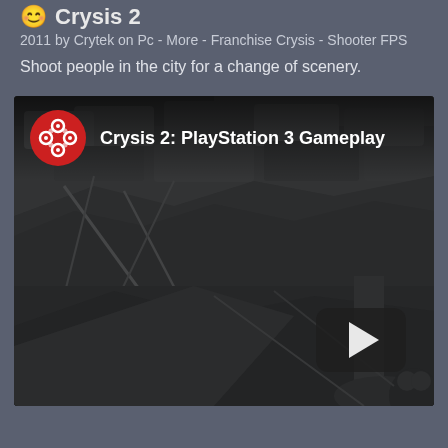Crysis 2
2011 by Crytek on Pc - More - Franchise Crysis - Shooter FPS
Shoot people in the city for a change of scenery.
[Figure (screenshot): Embedded video thumbnail showing Crysis 2 PlayStation 3 Gameplay with a red PlayStation-style logo icon, white bold title text 'Crysis 2: PlayStation 3 Gameplay', and a dark gameplay screenshot of a destroyed urban environment with cars stacked on rubble. A play button (rounded rectangle with triangle) is visible in the lower right.]